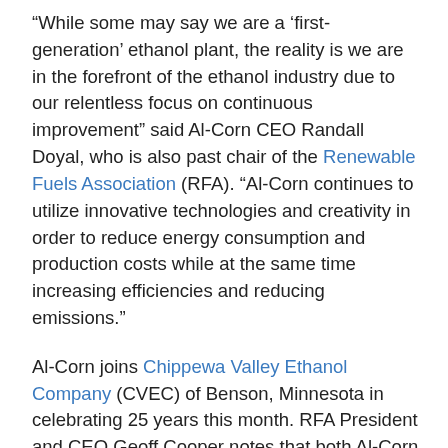“While some may say we are a ‘first-generation’ ethanol plant, the reality is we are in the forefront of the ethanol industry due to our relentless focus on continuous improvement” said Al-Corn CEO Randall Doyal, who is also past chair of the Renewable Fuels Association (RFA). “Al-Corn continues to utilize innovative technologies and creativity in order to reduce energy consumption and production costs while at the same time increasing efficiencies and reducing emissions.”
Al-Corn joins Chippewa Valley Ethanol Company (CVEC) of Benson, Minnesota in celebrating 25 years this month. RFA President and CEO Geoff Cooper notes that both Al-Corn and CVEC were essential contributors to what became known industry-wide as the “Minnesota Model” – a grassroots effort focused on developing policies and public-private partnerships to facilitate growth and local ownership in the state’s ethanol industry. The state’s